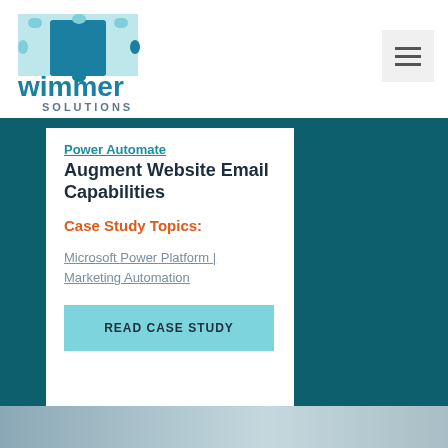[Figure (logo): Wimmer Solutions logo with puzzle pieces in teal/blue colors and company name]
[Figure (other): Hamburger menu button (three horizontal lines) on light grey background]
Power Automate Augment Website Email Capabilities
Case Study Topics:
Microsoft Power Platform | Marketing Automation
READ CASE STUDY
[Figure (photo): Partial blurred photo at the bottom of the page]